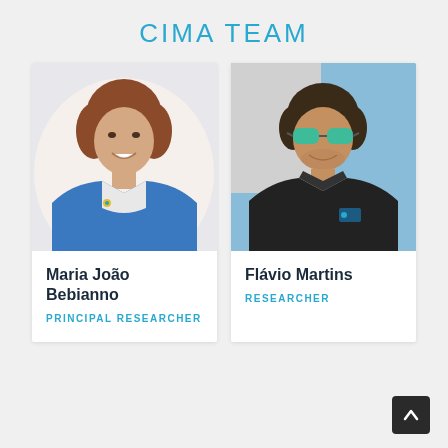CIMA TEAM
[Figure (photo): Portrait photo of Maria João Bebianno, a woman smiling, wearing a blue blazer and white blouse with a colorful pin]
Maria João Bebianno
PRINCIPAL RESEARCHER
[Figure (photo): Portrait photo of Flávio Martins, a man wearing sunglasses and a dark polo shirt, photographed outdoors near water]
Flávio Martins
RESEARCHER